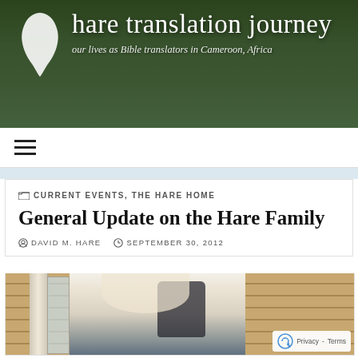hare translation journey — our lives as Bible translators in Cameroon, Africa
≡
CURRENT EVENTS, THE HARE HOME
General Update on the Hare Family
DAVID M. HARE   SEPTEMBER 30, 2012
[Figure (photo): A young woman with curly hair and a white headband, wearing a white lace top and carrying a backpack, standing at a door next to a brick wall, smiling at the camera.]